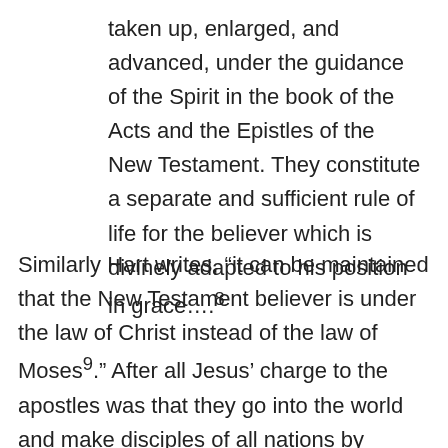taken up, enlarged, and advanced, under the guidance of the Spirit in the book of the Acts and the Epistles of the New Testament. They constitute a separate and sufficient rule of life for the believer which is divinely adapted to his position in grace....8
Similarly Hart writes, “it can be maintained that the New Testament believer is under the law of Christ instead of the law of Moses9.” After all Jesus’ charge to the apostles was that they go into the world and make disciples of all nations by baptizing and “teaching them to observe all that I